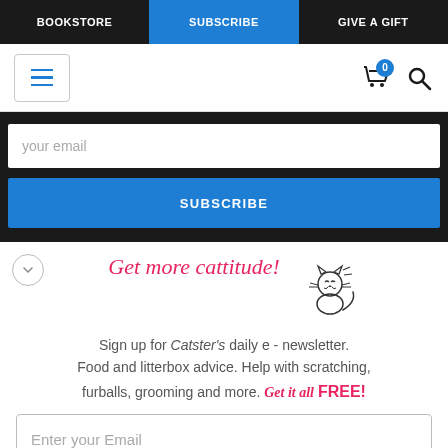BOOKSTORE | SUBSCRIBE | GIVE A GIFT
[Figure (screenshot): Navigation icon bar with hamburger menu, cart with badge 0, and search icon]
your email
SUBSCRIBE
Get more cattitude!
[Figure (illustration): Hand-drawn doodle of a happy cat with motion lines]
Sign up for Catster's daily e - newsletter. Food and litterbox advice. Help with scratching, furballs, grooming and more. Get it all FREE!
Enter your Email
YES! SIGN ME UP